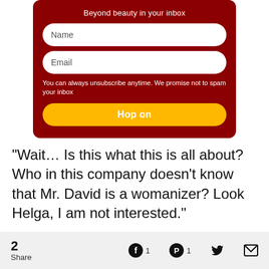Beyond beauty in your inbox
Name
Email
You can always unsubscribe anytime. We promise not to spam your inbox
Hop on
“Wait… Is this what this is all about? Who in this company doesn’t know that Mr. David is a womanizer? Look Helga, I am not interested.”
2 Share | Facebook 1 | Pinterest 1 | Twitter | Email